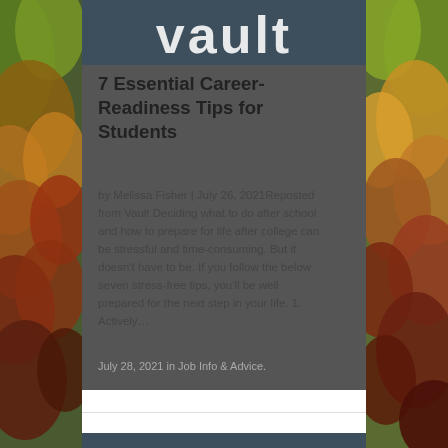[Figure (logo): Vault logo on dark slate background, top of first article]
7 Essential Career-Readiness Tips for Students
by Melissa Fisher | July 26, 2021Reposted from Vault Deciding what to do after school and how to prepare for life after college can be stressful and time-consuming. But it doesn't have to be. If you follow the below seven stress-free tips, you'll be well prepared for the next step in your life. 1. Actively…
July 28, 2021 in Job Info & Advice.
[Figure (logo): Vault logo on dark slate background with gold arc, bottom of page]